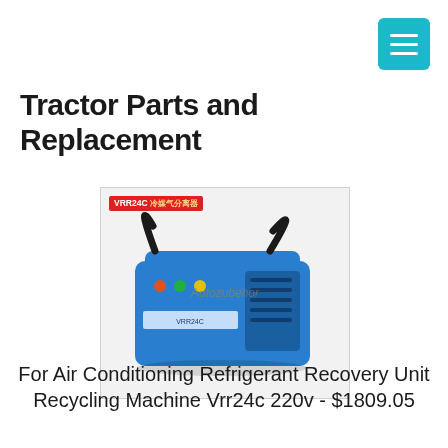Tractor Parts and Replacement
[Figure (photo): Blue portable VRR24C air conditioning refrigerant recovery unit recycling machine with black handle straps and control panel, watermarked with 'Autozubehor']
For Air Conditioning Refrigerant Recovery Unit Recycling Machine Vrr24c 220v - $1809.05